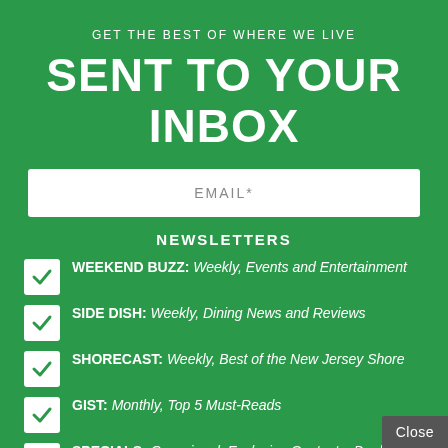GET THE BEST OF WHERE WE LIVE
SENT TO YOUR INBOX
EMAIL*
NEWSLETTERS
WEEKEND BUZZ: Weekly, Events and Entertainment
SIDE DISH: Weekly, Dining News and Reviews
SHORECAST: Weekly, Best of the New Jersey Shore
GIST: Monthly, Top 5 Must-Reads
SPECIALS: Occasional, Exclusive Contests, Deals and Offers